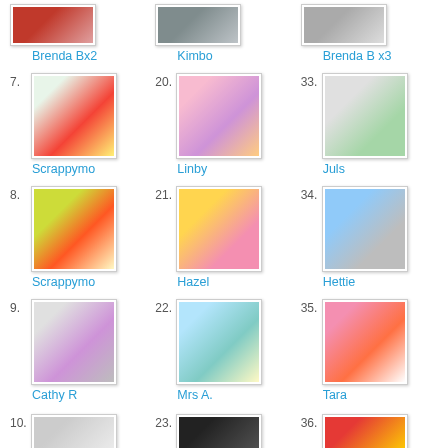[Figure (photo): Partial view of card thumbnails at top: Brenda Bx2, Kimbo, Brenda B x3]
Brenda Bx2
Kimbo
Brenda B x3
7. Scrappymo
20. Linby
33. Juls
8. Scrappymo
21. Hazel
34. Hettie
9. Cathy R
22. Mrs A.
35. Tara
10. (partial)
23. (partial)
36. (partial)